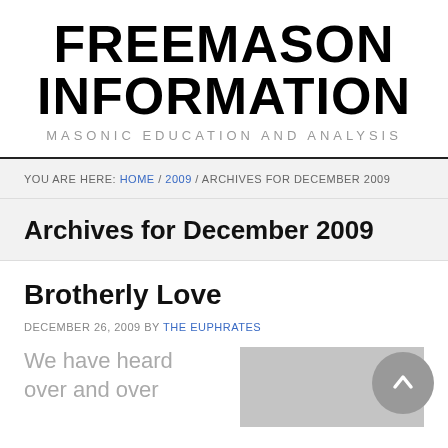FREEMASON INFORMATION
MASONIC EDUCATION AND ANALYSIS
YOU ARE HERE: HOME / 2009 / ARCHIVES FOR DECEMBER 2009
Archives for December 2009
Brotherly Love
DECEMBER 26, 2009 BY THE EUPHRATES
We have heard over and over